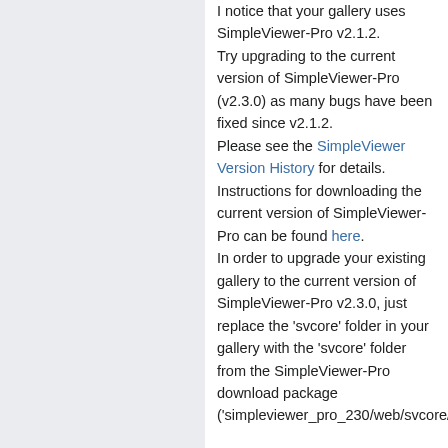I notice that your gallery uses SimpleViewer-Pro v2.1.2. Try upgrading to the current version of SimpleViewer-Pro (v2.3.0) as many bugs have been fixed since v2.1.2. Please see the SimpleViewer Version History for details. Instructions for downloading the current version of SimpleViewer-Pro can be found here. In order to upgrade your existing gallery to the current version of SimpleViewer-Pro v2.3.0, just replace the 'svcore' folder in your gallery with the 'svcore' folder from the SimpleViewer-Pro download package ('simpleviewer_pro_230/web/svcore/'). Also, try fixing the HTML errors on the page. You can validate your page's code with the W3C Markup Validation Service. Once your page validates, it will be displayed with greater predictability and consistency across